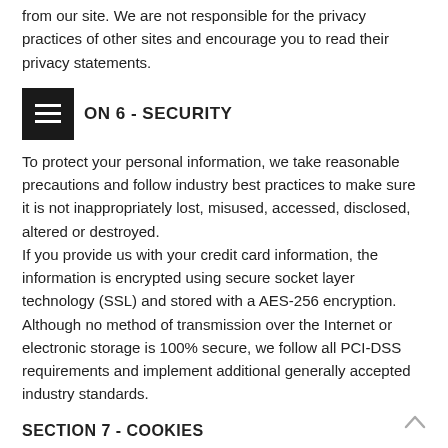from our site. We are not responsible for the privacy practices of other sites and encourage you to read their privacy statements.
SECTION 6 - SECURITY
To protect your personal information, we take reasonable precautions and follow industry best practices to make sure it is not inappropriately lost, misused, accessed, disclosed, altered or destroyed.
If you provide us with your credit card information, the information is encrypted using secure socket layer technology (SSL) and stored with a AES-256 encryption. Although no method of transmission over the Internet or electronic storage is 100% secure, we follow all PCI-DSS requirements and implement additional generally accepted industry standards.
SECTION 7 - COOKIES
Here is a list of cookies that we use. We've listed them here so you that you can choose if you want to opt-out of cookies or not. _session_id, unique token, sessional, Allows Shopify to store information about your session (referrer, landing page, etc)